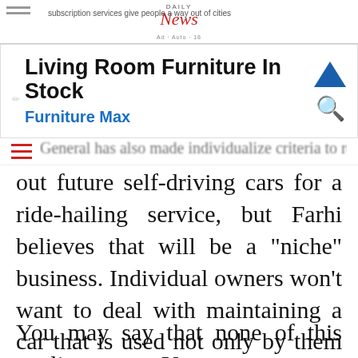subscription services give people a way out of cities
[Figure (logo): Daily News logo with red italic serif 'News' text]
[Figure (infographic): Advertisement banner: Living Room Furniture In Stock - Furniture Max, with blue triangle up arrow and red search icon]
out future self-driving cars for a ride-hailing service, but Farhi believes that will be a "niche" business. Individual owners won't want to deal with maintaining a car that is used not only by them but numerous other people as well. Imagine if your daily driver was also a taxi.
You may say that none of this applies to you. Y